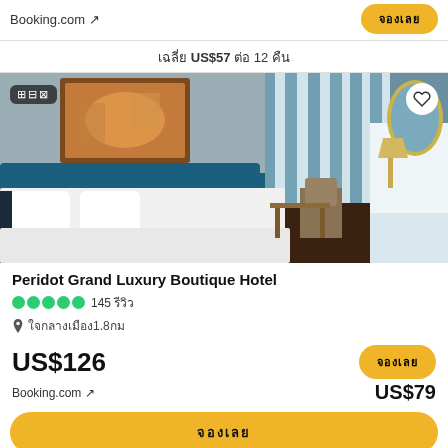Booking.com ↗
เฉลี่ย US$57 ต่อ 12 คืน
[Figure (photo): Luxury hotel room with white bedding, teal headboard, artwork on wall, sheer curtains, desk area with mirror and lamp]
Peridot Grand Luxury Boutique Hotel
●●●●● 145 รีวิว
📍 ใจกลางเมือง1.8กม
US$126
Booking.com ↗
US$79
จองเลย